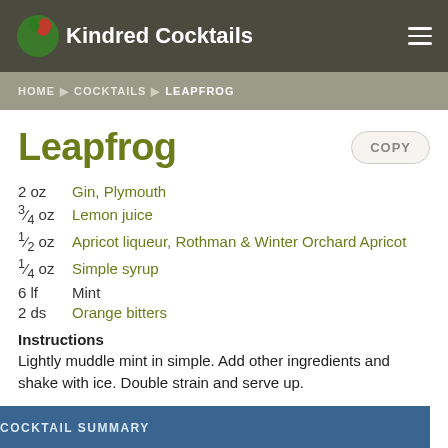Kindred Cocktails
HOME > COCKTAILS > LEAPFROG
Leapfrog
2 oz  Gin, Plymouth
3/4 oz  Lemon juice
1/2 oz  Apricot liqueur, Rothman & Winter Orchard Apricot
1/4 oz  Simple syrup
6 lf  Mint
2 ds  Orange bitters
Instructions
Lightly muddle mint in simple. Add other ingredients and shake with ice. Double strain and serve up.
COCKTAIL SUMMARY